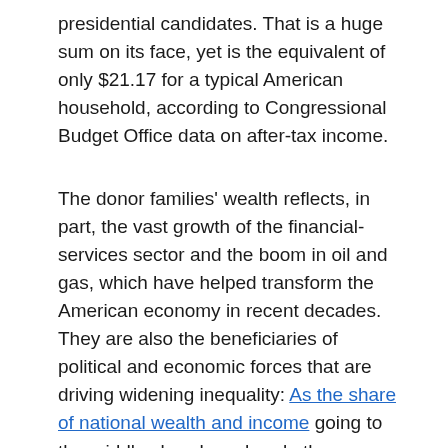presidential candidates. That is a huge sum on its face, yet is the equivalent of only $21.17 for a typical American household, according to Congressional Budget Office data on after-tax income.
The donor families' wealth reflects, in part, the vast growth of the financial-services sector and the boom in oil and gas, which have helped transform the American economy in recent decades. They are also the beneficiaries of political and economic forces that are driving widening inequality: As the share of national wealth and income going to the middle class has shrunk, these families are among those whose share has grown.
Mainly in Finance and Energy